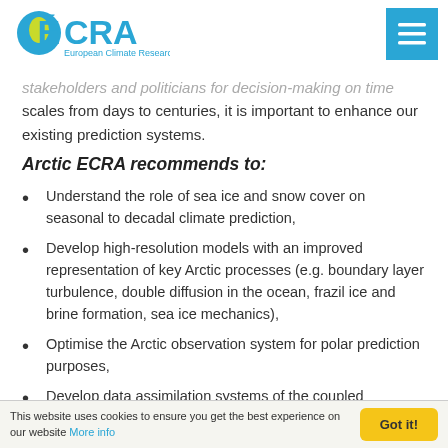ECRA - European Climate Research Alliance
stakeholders and politicians for decision-making on time scales from days to centuries, it is important to enhance our existing prediction systems.
Arctic ECRA recommends to:
Understand the role of sea ice and snow cover on seasonal to decadal climate prediction,
Develop high-resolution models with an improved representation of key Arctic processes (e.g. boundary layer turbulence, double diffusion in the ocean, frazil ice and brine formation, sea ice mechanics),
Optimise the Arctic observation system for polar prediction purposes,
Develop data assimilation systems of the coupled
This website uses cookies to ensure you get the best experience on our website More info | Got it!